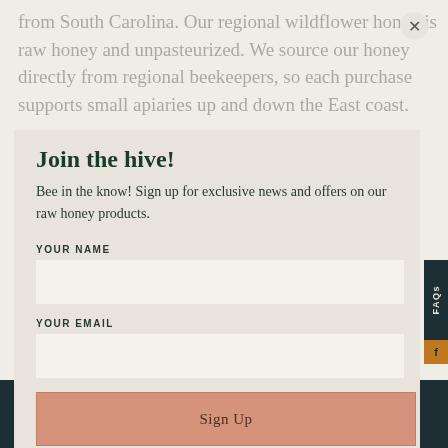from South Carolina. Our regional wildflower honey is raw honey and unpasteurized. We source our honey directly from regional beekeepers, so each purchase supports small apiaries up and down the East coast.
Tags: FEATURED
Join the hive!
Bee in the know! Sign up for exclusive news and offers on our raw honey products.
YOUR NAME
YOUR EMAIL
Sign Up
LEAVE A COMMENT
Name
Email